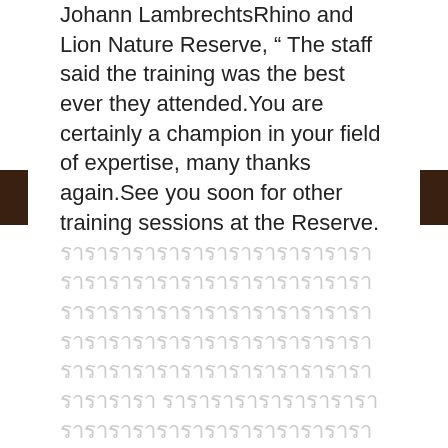Johann LambrechtsRhino and Lion Nature Reserve, " The staff said the training was the best ever they attended.You are certainly a champion in your field of expertise, many thanks again.See you soon for other training sessions at the Reserve. [Thai text] nerv[Thai] nerv[Thai] Feedback is sent on e-mail after each class that really helps to understand what she is learning and how